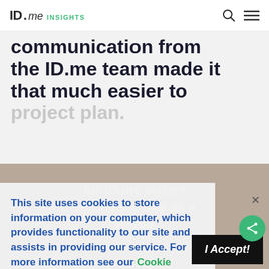ID.me INSIGHTS
communication from the ID.me team made it that much easier to project plan.
This site uses cookies to store information on your computer, which provides functionality to our site and assists in providing our service. For more information see our Cookie Policy.
for ID.me orders versus the site as a whole